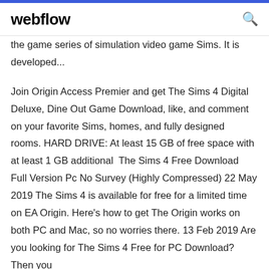webflow
the game series of simulation video game Sims. It is developed...
Join Origin Access Premier and get The Sims 4 Digital Deluxe, Dine Out Game Download, like, and comment on your favorite Sims, homes, and fully designed rooms. HARD DRIVE: At least 15 GB of free space with at least 1 GB additional  The Sims 4 Free Download Full Version Pc No Survey (Highly Compressed) 22 May 2019 The Sims 4 is available for free for a limited time on EA Origin. Here's how to get The Origin works on both PC and Mac, so no worries there. 13 Feb 2019 Are you looking for The Sims 4 Free for PC Download? Then you